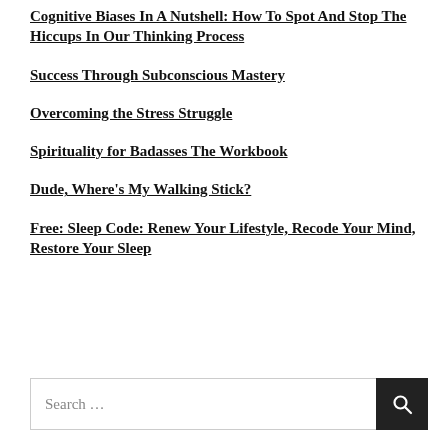Cognitive Biases In A Nutshell: How To Spot And Stop The Hiccups In Our Thinking Process
Success Through Subconscious Mastery
Overcoming the Stress Struggle
Spirituality for Badasses The Workbook
Dude, Where's My Walking Stick?
Free: Sleep Code: Renew Your Lifestyle, Recode Your Mind, Restore Your Sleep
Search …